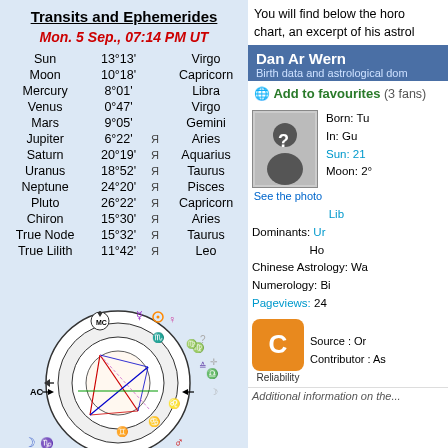Transits and Ephemerides
Mon. 5 Sep., 07:14 PM UT
| Planet | Degree | Retro | Sign |
| --- | --- | --- | --- |
| Sun | 13°13' |  | Virgo |
| Moon | 10°18' |  | Capricorn |
| Mercury | 8°01' |  | Libra |
| Venus | 0°47' |  | Virgo |
| Mars | 9°05' |  | Gemini |
| Jupiter | 6°22' | Я | Aries |
| Saturn | 20°19' | Я | Aquarius |
| Uranus | 18°52' | Я | Taurus |
| Neptune | 24°20' | Я | Pisces |
| Pluto | 26°22' | Я | Capricorn |
| Chiron | 15°30' | Я | Aries |
| True Node | 15°32' | Я | Taurus |
| True Lilith | 11°42' | Я | Leo |
[Figure (other): Astrological natal chart wheel with planetary positions, aspect lines in red and blue, zodiac signs around the wheel, MC and AC markers]
You will find below the horoscope chart, an excerpt of his astrological portrait.
Dan Ar Wern
Birth data and astrological dominants
Add to favourites (3 fans)
See the photo
Born: Tu
In: Gu
Sun: 21
Moon: 2°
Lib
Dominants: Ur
Ho
Chinese Astrology: Wa
Numerology: Bi
Pageviews: 24
Source : Or
Contributor : As
Reliability
Additional information on the...